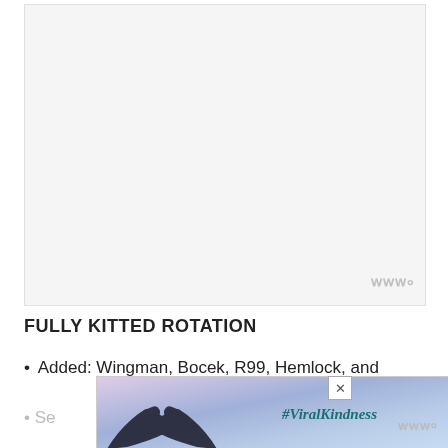[Figure (photo): Large light gray blank/empty image placeholder area with a small watermark logo in the bottom right corner]
FULLY KITTED ROTATION
Added: Wingman, Bocek, R99, Hemlock, and
Se
[Figure (photo): Advertisement overlay showing a silhouette of hands forming a heart shape against a colorful sky background with the text #ViralKindness and a close button]